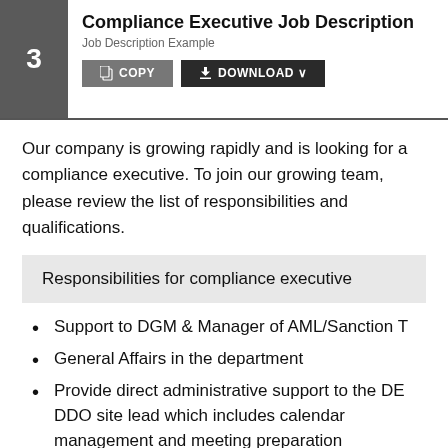Compliance Executive Job Description
Job Description Example
Our company is growing rapidly and is looking for a compliance executive. To join our growing team, please review the list of responsibilities and qualifications.
Responsibilities for compliance executive
Support to DGM & Manager of AML/Sanction T
General Affairs in the department
Provide direct administrative support to the DE DDO site lead which includes calendar management and meeting preparation (documents, presentations,), booking travel